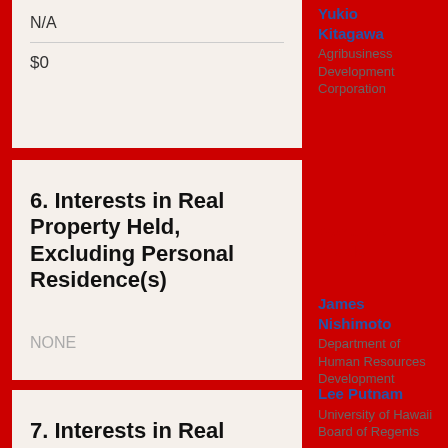N/A
$0
6. Interests in Real Property Held, Excluding Personal Residence(s)
NONE
7. Interests in Real Property Acquired, Excluding Personal
Yukio Kitagawa
Agribusiness Development Corporation
Owners of Oracle
James Nishimoto
Department of Human Resources Development
Lee Putnam
University of Hawaii Board of Regents